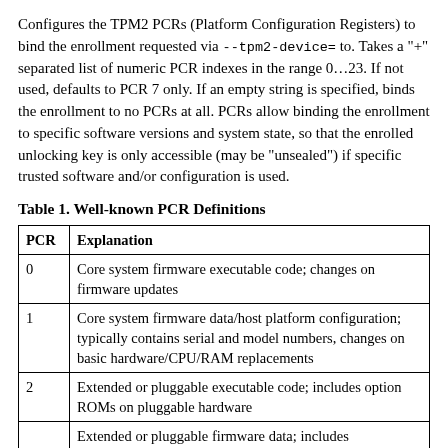Configures the TPM2 PCRs (Platform Configuration Registers) to bind the enrollment requested via --tpm2-device= to. Takes a "+" separated list of numeric PCR indexes in the range 0…23. If not used, defaults to PCR 7 only. If an empty string is specified, binds the enrollment to no PCRs at all. PCRs allow binding the enrollment to specific software versions and system state, so that the enrolled unlocking key is only accessible (may be "unsealed") if specific trusted software and/or configuration is used.
Table 1. Well-known PCR Definitions
| PCR | Explanation |
| --- | --- |
| 0 | Core system firmware executable code; changes on firmware updates |
| 1 | Core system firmware data/host platform configuration; typically contains serial and model numbers, changes on basic hardware/CPU/RAM replacements |
| 2 | Extended or pluggable executable code; includes option ROMs on pluggable hardware |
| 3 | Extended or pluggable firmware data; includes |